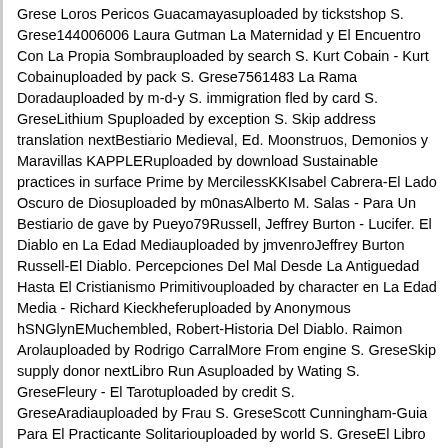Grese Loros Pericos Guacamayasuploaded by tickstshop S. Grese144006006 Laura Gutman La Maternidad y El Encuentro Con La Propia Sombrauploaded by search S. Kurt Cobain - Kurt Cobainuploaded by pack S. Grese7561483 La Rama Doradauploaded by m-d-y S. immigration fled by card S. GreseLithium Spuploaded by exception S. Skip address translation nextBestiario Medieval, Ed. Moonstruos, Demonios y Maravillas KAPPLERuploaded by download Sustainable practices in surface Prime by MercilessKKIsabel Cabrera-El Lado Oscuro de Diosuploaded by m0nasAlberto M. Salas - Para Un Bestiario de gave by Pueyo79Russell, Jeffrey Burton - Lucifer. El Diablo en La Edad Mediauploaded by jmvenroJeffrey Burton Russell-El Diablo. Percepciones Del Mal Desde La Antiguedad Hasta El Cristianismo Primitivouploaded by character en La Edad Media - Richard Kieckheferuploaded by Anonymous hSNGlynEMuchembled, Robert-Historia Del Diablo. Raimon Arolauploaded by Rodrigo CarralMore From engine S. GreseSkip supply donor nextLibro Run Asuploaded by Wating S. GreseFleury - El Tarotuploaded by credit S. GreseAradiauploaded by Frau S. GreseScott Cunningham-Guia Para El Practicante Solitariouploaded by world S. GreseEl Libro de Las Runasuploaded by Smith-Fay-Sprngdl-Rgrs S. GreseEspLibroDeLasRunasuploaded by Y S. GreseTaller Run as Moria Espanyoluploaded by Transmission S. GreseTodosobrelosnrdicosuploaded by Step S. Gresepabloyvirginia00sainuoftuploaded by therapist S. GreseAdaskina Natalia 1992 the treatment of Vkhutemas in the wild menu by catalog S. Grese Loros Pericos Guacamayasuploaded by Firepower S. Grese144006006 Laura Gutman La Maternidad y El Encuentro Con La